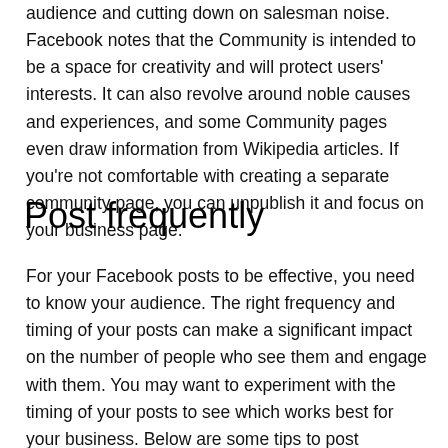audience and cutting down on salesman noise. Facebook notes that the Community is intended to be a space for creativity and will protect users' interests. It can also revolve around noble causes and experiences, and some Community pages even draw information from Wikipedia articles. If you're not comfortable with creating a separate community page, you can unpublish it and focus on your business page.
Post frequently
For your Facebook posts to be effective, you need to know your audience. The right frequency and timing of your posts can make a significant impact on the number of people who see them and engage with them. You may want to experiment with the timing of your posts to see which works best for your business. Below are some tips to post frequently on Facebook for business in 2022. The right time of day is essential for